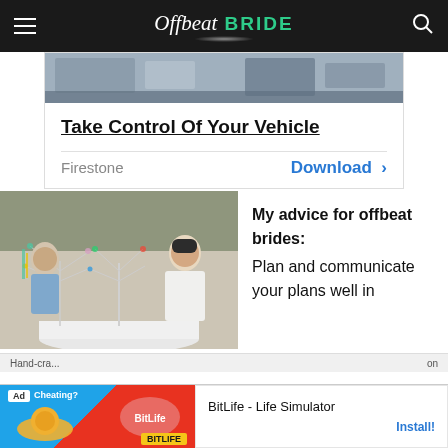Offbeat Bride
[Figure (photo): Advertisement banner with street/building photo. Title: Take Control Of Your Vehicle. Brand: Firestone. CTA: Download]
[Figure (photo): Photo of a couple at a table with decorative wire jewelry/bead tree centerpieces at a wedding reception outdoors]
My advice for offbeat brides: Plan and communicate your plans well in
Hand-cra... on
[Figure (screenshot): Bottom advertisement: BitLife - Life Simulator app ad with cheating themed graphic and Install button]